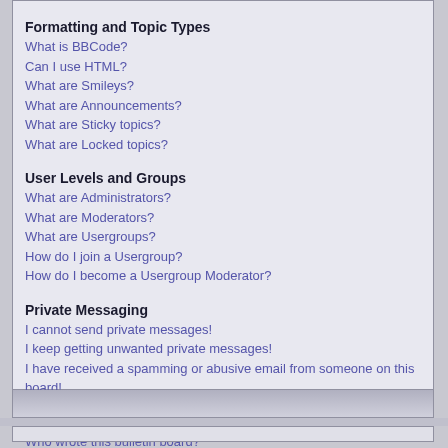Formatting and Topic Types
What is BBCode?
Can I use HTML?
What are Smileys?
What are Announcements?
What are Sticky topics?
What are Locked topics?
User Levels and Groups
What are Administrators?
What are Moderators?
What are Usergroups?
How do I join a Usergroup?
How do I become a Usergroup Moderator?
Private Messaging
I cannot send private messages!
I keep getting unwanted private messages!
I have received a spamming or abusive email from someone on this board!
phpBB 2 Issues
Who wrote this bulletin board?
Why isn't X feature available?
Whom do I contact about abusive and/or legal matters related to this board?